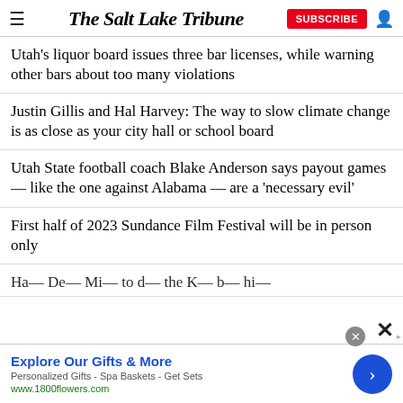The Salt Lake Tribune
Utah's liquor board issues three bar licenses, while warning other bars about too many violations
Justin Gillis and Hal Harvey: The way to slow climate change is as close as your city hall or school board
Utah State football coach Blake Anderson says payout games — like the one against Alabama — are a 'necessary evil'
First half of 2023 Sundance Film Festival will be in person only
Ha— De— Mi— to d— the K— b— hi—
Explore Our Gifts & More
Personalized Gifts - Spa Baskets - Get Sets
www.1800flowers.com